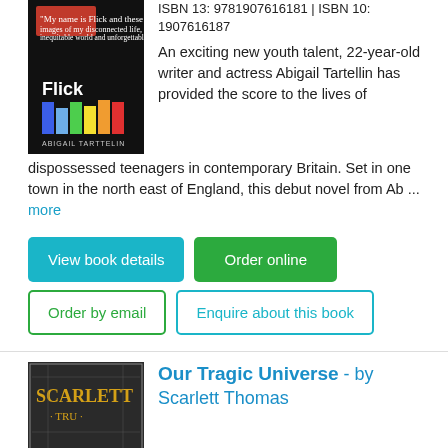[Figure (photo): Book cover of 'Flick' by Abigail Tartellin — dark background with colorful vertical bars and the word Flick]
ISBN 13: 9781907616181 | ISBN 10: 1907616187
An exciting new youth talent, 22-year-old writer and actress Abigail Tartellin has provided the score to the lives of dispossessed teenagers in contemporary Britain. Set in one town in the north east of England, this debut novel from Ab ... more
View book details
Order online
Order by email
Enquire about this book
[Figure (photo): Book cover of 'Our Tragic Universe' by Scarlett Thomas — dark background with puzzle-like patterns and stylized text]
Our Tragic Universe - by Scarlett Thomas